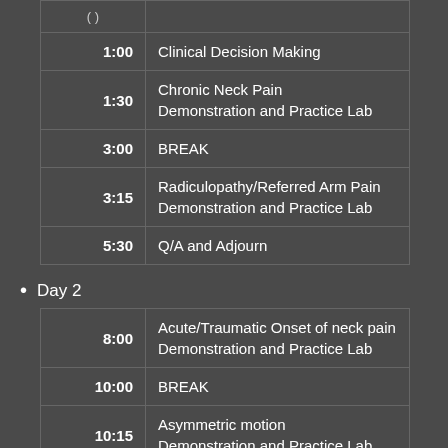| Time | Session |
| --- | --- |
| 1:00 | Clinical Decision Making |
| 1:30 | Chronic Neck Pain
Demonstration and Practice Lab |
| 3:00 | BREAK |
| 3:15 | Radiculopathy/Referred Arm Pain
Demonstration and Practice Lab |
| 5:30 | Q/A and Adjourn |
Day 2
| Time | Session |
| --- | --- |
| 8:00 | Acute/Traumatic Onset of neck pain
Demonstration and Practice Lab |
| 10:00 | BREAK |
| 10:15 | Asymmetric motion
Demonstration and Practice Lab |
| 12:00 | LUNCH (ON YOUR OWN) |